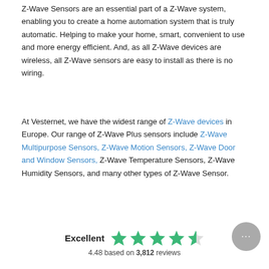Z-Wave Sensors are an essential part of a Z-Wave system, enabling you to create a home automation system that is truly automatic. Helping to make your home, smart, convenient to use and more energy efficient. And, as all Z-Wave devices are wireless, all Z-Wave sensors are easy to install as there is no wiring.
At Vesternet, we have the widest range of Z-Wave devices in Europe. Our range of Z-Wave Plus sensors include Z-Wave Multipurpose Sensors, Z-Wave Motion Sensors, Z-Wave Door and Window Sensors, Z-Wave Temperature Sensors, Z-Wave Humidity Sensors, and many other types of Z-Wave Sensor.
Excellent  4.48 based on 3,812 reviews